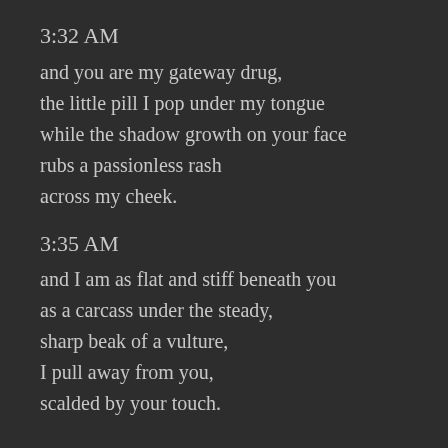3:32 AM
and you are my gateway drug,
the little pill I pop under my tongue
while the shadow growth on your face
rubs a passionless rash
across my cheek.
3:35 AM
and I am as flat and stiff beneath you
as a carcass under the steady,
sharp beak of a vulture,
I pull away from you,
scalded by your touch.